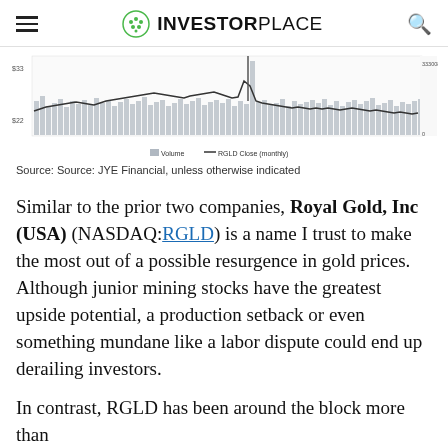INVESTORPLACE
[Figure (continuous-plot): Stock chart showing Volume (bars) and RGLD Close (monthly line) over time from approximately 2012 to 2017. Y-axis shows price around $22-$33 range. Legend: Volume, RGLD Close (monthly).]
Source: Source: JYE Financial, unless otherwise indicated
Similar to the prior two companies, Royal Gold, Inc (USA) (NASDAQ:RGLD) is a name I trust to make the most out of a possible resurgence in gold prices. Although junior mining stocks have the greatest upside potential, a production setback or even something mundane like a labor dispute could end up derailing investors.
In contrast, RGLD has been around the block more than